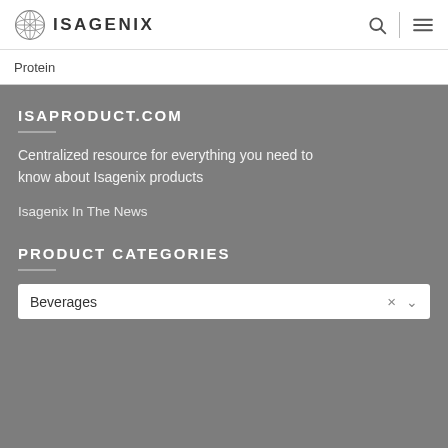ISAGENIX
Protein
ISAPRODUCT.COM
Centralized resource for everything you need to know about Isagenix products
Isagenix In The News
PRODUCT CATEGORIES
Beverages